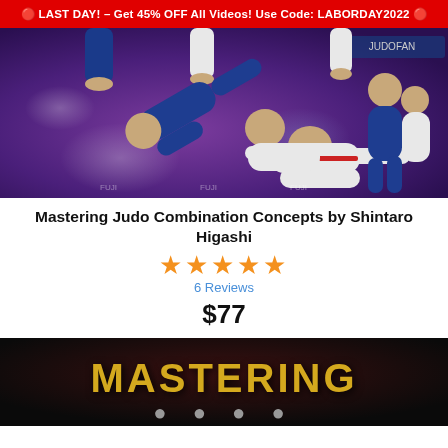🔴 LAST DAY! – Get 45% OFF All Videos! Use Code: LABORDAY2022 🔴
[Figure (photo): Judo practitioners on a purple mat; one practitioner in white gi being thrown by another in blue gi; additional players visible in background]
Mastering Judo Combination Concepts by Shintaro Higashi
★★★★★
6 Reviews
$77
[Figure (photo): Bottom portion of a dark background image showing the word MASTERING in gold/yellow letters and partial dots below]